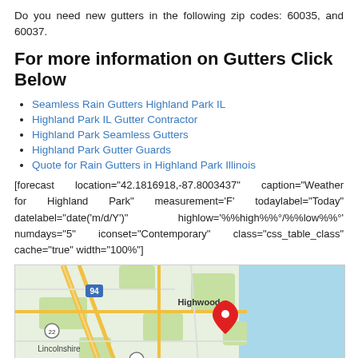Do you need new gutters in the following zip codes: 60035, and 60037.
For more information on Gutters Click Below
Seamless Rain Gutters Highland Park IL
Highland Park IL Gutter Contractor
Highland Park Seamless Gutters
Highland Park Gutter Guards
Quote for Rain Gutters in Highland Park Illinois
[forecast location="42.1816918,-87.8003437" caption="Weather for Highland Park" measurement='F' todaylabel="Today" datelabel="date('m/d/Y')" highlow='%%high%%°/%%low%%°' numdays="5" iconset="Contemporary" class="css_table_class" cache="true" width="100%"]
[Figure (map): Google Maps view showing Highland Park, IL area with Highwood, Lincolnshire labeled, a red map pin marking Highland Park, and Lake Michigan to the right.]